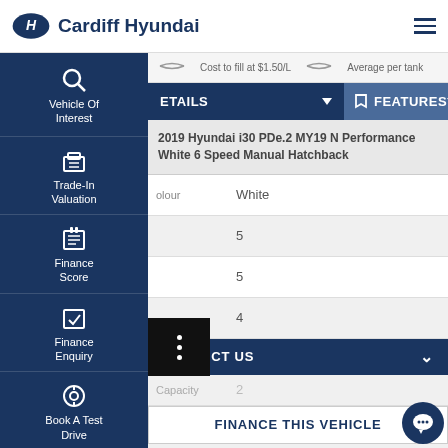[Figure (logo): Cardiff Hyundai logo with Hyundai oval emblem and text]
Cost to fill at $1.50/L    Average per tank
[Figure (screenshot): Navigation sidebar with Vehicle Of Interest, Trade-In Valuation, Finance Score, Finance Enquiry, Book A Test Drive]
DETAILS
FEATURES
2019 Hyundai i30 PDe.2 MY19 N Performance White 6 Speed Manual Hatchback
olour    White
5
5
4
CONTACT US
Capacity    2
FINANCE THIS VEHICLE